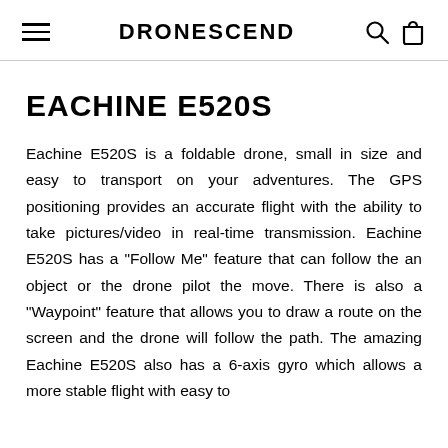DRONESCEND
EACHINE E520S
Eachine E520S is a foldable drone, small in size and easy to transport on your adventures. The GPS positioning provides an accurate flight with the ability to take pictures/video in real-time transmission. Eachine E520S has a "Follow Me" feature that can follow the an object or the drone pilot the move. There is also a "Waypoint" feature that allows you to draw a route on the screen and the drone will follow the path. The amazing Eachine E520S also has a 6-axis gyro which allows a more stable flight with easy to